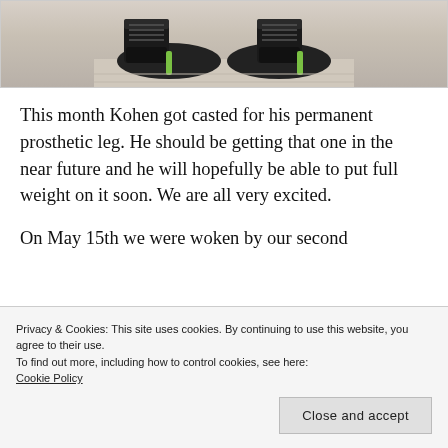[Figure (photo): Photo of person's feet/lower legs wearing dark boots with green accents, standing on a light wood floor. Only the lower portion of the image is visible.]
This month Kohen got casted for his permanent prosthetic leg. He should be getting that one in the near future and he will hopefully be able to put full weight on it soon. We are all very excited.
On May 15th we were woken by our second
Privacy & Cookies: This site uses cookies. By continuing to use this website, you agree to their use.
To find out more, including how to control cookies, see here:
Cookie Policy
Close and accept